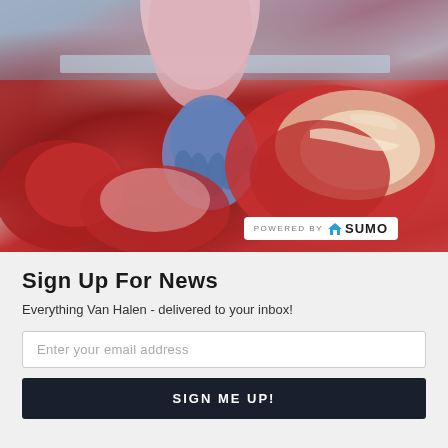[Figure (photo): A butcher wearing a blue glove handling raw meat cuts at a meat counter, viewed from above. Several cuts of red meat are visible on the counter.]
Sign Up For News
Everything Van Halen - delivered to your inbox!
Enter your email address
SIGN ME UP!